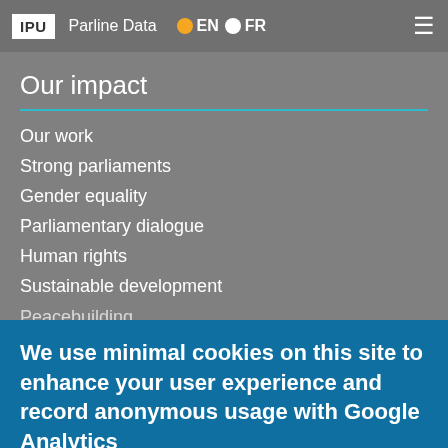IPU | Parline Data | EN | FR
Our impact
Our work
Strong parliaments
Gender equality
Parliamentary dialogue
Human rights
Sustainable development
Peacebuilding
We use minimal cookies on this site to enhance your user experience and record anonymous usage with Google Analytics
By continuing to use the site, you agree to us doing so. Clicking the Accept button will remove this message. More on our policies
Accept